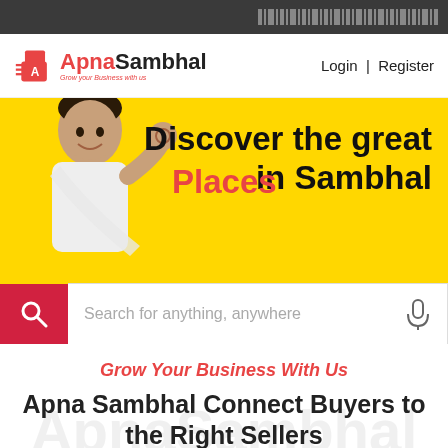[dark top bar with pattern]
[Figure (logo): ApnaSambhal logo with shopping bag icon and tagline 'Grow your Business with us']
Login | Register
[Figure (screenshot): Yellow hero banner with man photo, text 'Discover the great Places in Sambhal', and search bar with placeholder 'Search for anything, anywhere']
Grow Your Business With Us
Apna Sambhal Connect Buyers to the Right Sellers